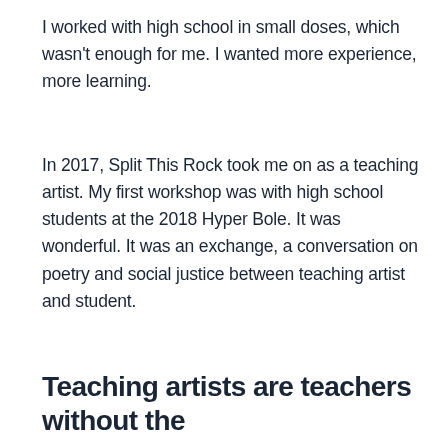I worked with high school in small doses, which wasn't enough for me. I wanted more experience, more learning.
In 2017, Split This Rock took me on as a teaching artist. My first workshop was with high school students at the 2018 Hyper Bole. It was wonderful. It was an exchange, a conversation on poetry and social justice between teaching artist and student.
Teaching artists are teachers without the